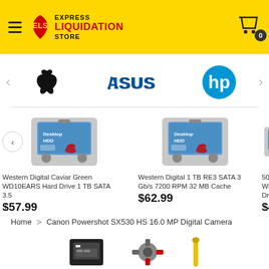Express Liquidation Store
[Figure (logo): Apple logo, ASUS logo, HP logo brand carousel]
[Figure (photo): Western Digital Caviar Green WD10EARS Hard Drive 1 TB SATA 3.5]
Western Digital Caviar Green WD10EARS Hard Drive 1 TB SATA 3.5
$57.99
[Figure (photo): Western Digital 1 TB RE3 SATA 3 Gb/s 7200 RPM 32 MB Cache]
Western Digital 1 TB RE3 SATA 3 Gb/s 7200 RPM 32 MB Cache
$62.99
[Figure (photo): 500 WD hard drive (partially visible)]
500 WD... Dri... $4...
Home > Canon Powershot SX530 HS 16.0 MP Digital Camera
[Figure (photo): Three product thumbnail images at bottom: camera accessory, camera mount, yellow lens cap]